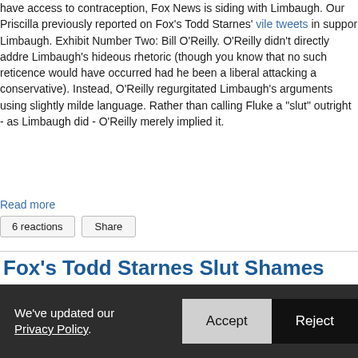have access to contraception, Fox News is siding with Limbaugh. Our Priscilla previously reported on Fox's Todd Starnes' vile tweets in support Limbaugh. Exhibit Number Two: Bill O'Reilly. O'Reilly didn't directly addre Limbaugh's hideous rhetoric (though you know that no such reticence would have occurred had he been a liberal attacking a conservative). Instead, O'Reilly regurgitated Limbaugh's arguments using slightly milde language. Rather than calling Fluke a "slut" outright - as Limbaugh did - O'Reilly merely implied it.
Read more
6 reactions   Share
Fox's Todd Starnes Slut Shames Sandra Fluke & Georgetown Students
POSTED BY PRISCILLA · MARCH 02, 2012 4:08 PM · 3 REACTIONS
We've updated our Privacy Policy.   Accept   Reject